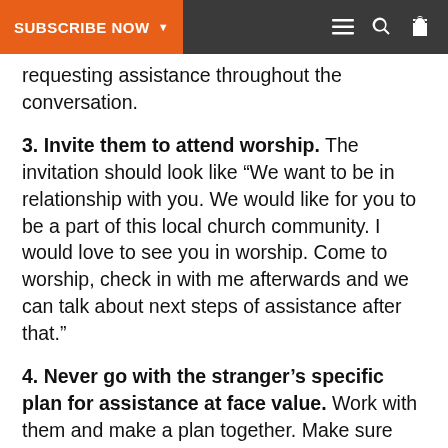SUBSCRIBE NOW
requesting assistance throughout the conversation.
3. Invite them to attend worship. The invitation should look like “We want to be in relationship with you. We would like for you to be a part of this local church community. I would love to see you in worship. Come to worship, check in with me afterwards and we can talk about next steps of assistance after that.”
4. Never go with the stranger’s specific plan for assistance at face value. Work with them and make a plan together. Make sure there is mutual accountability in place. A little of their plan and a little of ours. Something like “Here’s what I can do...